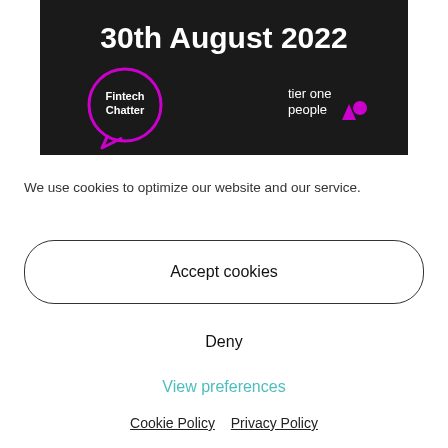[Figure (logo): Dark banner with '30th August 2022' text, Fintech Chatter logo (circle with chat bubble) and tier one people logo with purple icon]
We use cookies to optimize our website and our service.
Accept cookies
Deny
View preferences
Cookie Policy   Privacy Policy